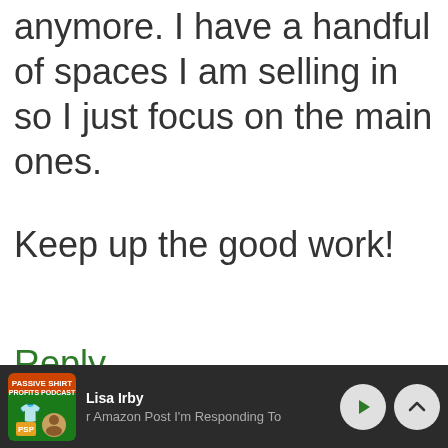anymore. I have a handful of spaces I am selling in so I just focus on the main ones.
Keep up the good work!
Reply
[Figure (screenshot): Podcast player footer bar showing 'Passive Shirt Profits Podcast' logo, author 'Lisa Irby', episode title 'Amazon Post I'm Responding To', with play and expand controls on dark background]